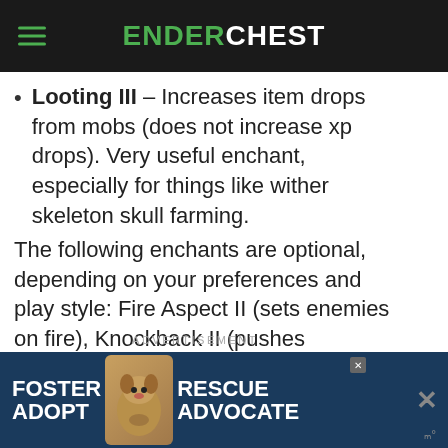ENDERCHEST
Looting III – Increases item drops from mobs (does not increase xp drops). Very useful enchant, especially for things like wither skeleton skull farming.
The following enchants are optional, depending on your preferences and play style: Fire Aspect II (sets enemies on fire), Knockback II (pushes enemies away when you hit them – can be helpful or very annoying).
ADVERTISEMENT
[Figure (photo): Bottom advertisement banner with text FOSTER ADOPT and RESCUE ADVOCATE and a dog image]